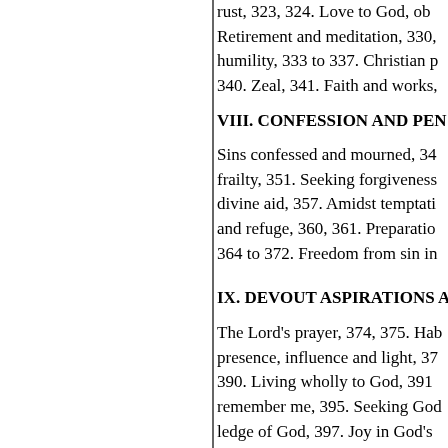rust, 323, 324. Love to God, ob Retirement and meditation, 330, humility, 333 to 337. Christian p 340. Zeal, 341. Faith and works,
VIII. CONFESSION AND PEN
Sins confessed and mourned, 34 frailty, 351. Seeking forgiveness divine aid, 357. Amidst temptati and refuge, 360, 361. Preparatio 364 to 372. Freedom from sin in
IX. DEVOUT ASPIRATIONS A
The Lord's prayer, 374, 375. Hab presence, influence and light, 37 390. Living wholly to God, 391 remember me, 395. Seeking God ledge of God, 397. Joy in God's Praising God in all changes, 400 Seeking help and direction from ing waters, 410, 411. Subjection desires, 414. Living to God's glo Submission and resignation, 418 of subjects, 422, 424.